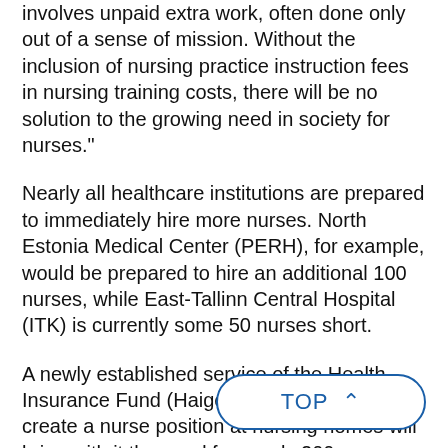involves unpaid extra work, often done only out of a sense of mission. Without the inclusion of nursing practice instruction fees in nursing training costs, there will be no solution to the growing need in society for nurses."
Nearly all healthcare institutions are prepared to immediately hire more nurses. North Estonia Medical Center (PERH), for example, would be prepared to hire an additional 100 nurses, while East-Tallinn Central Hospital (ITK) is currently some 50 nurses short.
A newly established service of the Health Insurance Fund (Haigekassa) which will create a nurse position at nursing homes will bring with it the need for nearly 200 nurses.
-